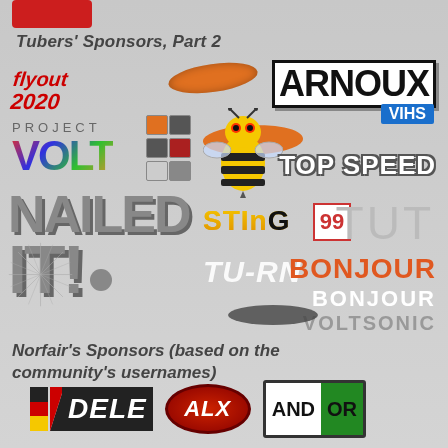Tubers' Sponsors, Part 2
[Figure (illustration): Collage of sponsor logos including: flyout 2020 (red italic), orange diamond/lens shape, ARNOUX (bold black on white with border), VIHS (blue badge), PROJECT VOLT (multicolor gradient), orange wavy arrow shape, bee mascot with stinger, gear/panel cluster, TOP SPEED (white bold), NAILED IT! (large gray text with starburst), STING (gold/black), 99 (red boxed number), TUT (light gray), TU-RN (white italic), BONJOUR (orange and white), VOLTSONIC (gray), oval dark shape]
Norfair's Sponsors (based on the community's usernames)
[Figure (illustration): Three sponsor logos: DELE (with German flag stripes and italic white text on black), ALX (white italic text on dark red oval), AND|OR (AND in white box, OR in green box, bordered)]